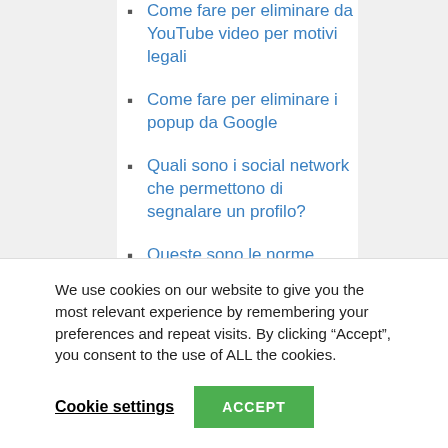Come fare per eliminare da YouTube video per motivi legali
Come fare per eliminare i popup da Google
Quali sono i social network che permettono di segnalare un profilo?
Queste sono le norme Google per i contenuti sui motori di ricerca
Come fare un reclamo Amazon Prime con l'aiuto dell'avvocato
Guida all... (partially visible)
We use cookies on our website to give you the most relevant experience by remembering your preferences and repeat visits. By clicking “Accept”, you consent to the use of ALL the cookies.
Cookie settings
ACCEPT